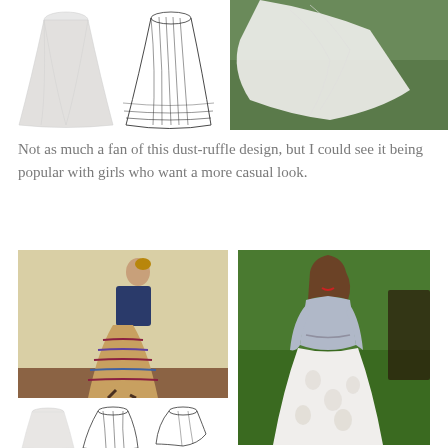[Figure (photo): Top left area: product photo of a white tulle/ruffle skirt alongside a sewing pattern sketch of the same skirt design]
[Figure (photo): Top right area: outdoor photo of a white flowing bridal/formal skirt laid on green grass]
Not as much a fan of this dust-ruffle design, but I could see it being popular with girls who want a more casual look.
[Figure (photo): Bottom left: woman wearing a colorful patterned maxi skirt with a navy jacket, walking against a canvas backdrop]
[Figure (photo): Bottom right large: woman in a light blue long-sleeve top with a white floral maxi skirt, sitting outdoors on green grass]
[Figure (photo): Small skirt product images and sewing pattern sketches in a row at the bottom left]